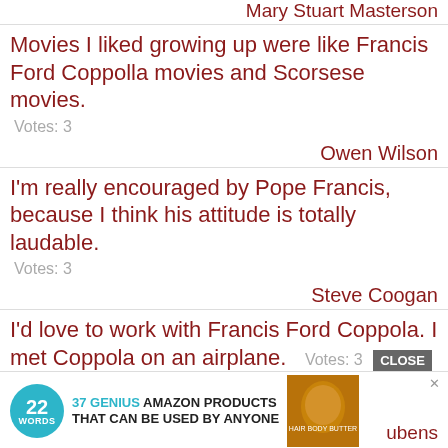Mary Stuart Masterson
Movies I liked growing up were like Francis Ford Coppolla movies and Scorsese movies.
Votes: 3
Owen Wilson
I'm really encouraged by Pope Francis, because I think his attitude is totally laudable.
Votes: 3
Steve Coogan
I'd love to work with Francis Ford Coppola. I met Coppola on an airplane.
Votes: 3
[Figure (screenshot): Advertisement banner: 22 Words - 37 Genius Amazon Products That Can Be Used By Anyone, with product image]
Paul Rubens
If you ignore the murdering and the conniving, Francis Underwood is an effective politician.